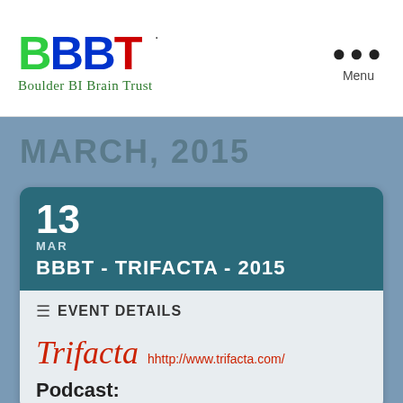[Figure (logo): BBBT logo with colorful letters - B in green, BB in blue, T in red, with tagline 'Boulder BI Brain Trust' in green cursive]
Menu
MARCH, 2015
13 MAR BBBT - TRIFACTA - 2015
EVENT DETAILS
Trifacta hhttp://www.trifacta.com/
Podcast: